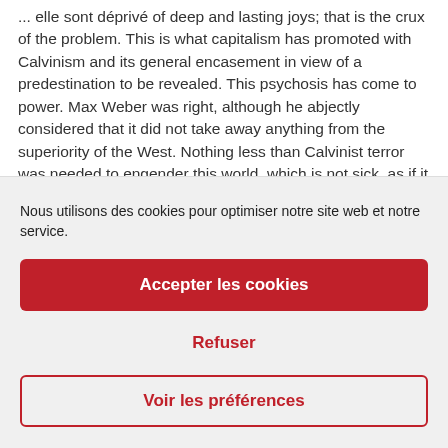... elle sont déprivé of deep and lasting joys; that is the crux of the problem. This is what capitalism has promoted with Calvinism and its general encasement in view of a predestination to be revealed. This psychosis has come to power. Max Weber was right, although he abjectly considered that it did not take away anything from the superiority of the West. Nothing less than Calvinist terror was needed to engender this world, which is not sick, as if it had ever been healthy, but simply monstrous — a monster is a sterile individual, who can leave no offspring — and which is happily
Nous utilisons des cookies pour optimiser notre site web et notre service.
Accepter les cookies
Refuser
Voir les préférences